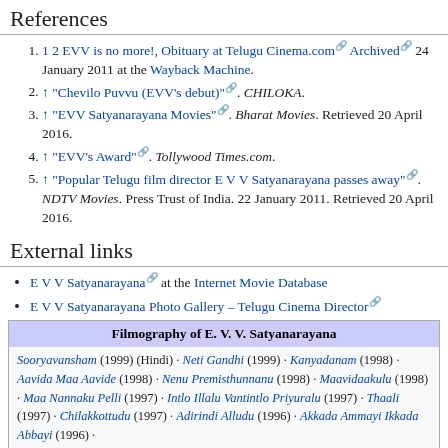References
1 2 EVV is no more!, Obituary at Telugu Cinema.com [external link] Archived [external link] 24 January 2011 at the Wayback Machine.
↑ "Chevilo Puvvu (EVV's debut)" [external link]. CHILOKA.
↑ "EVV Satyanarayana Movies" [external link]. Bharat Movies. Retrieved 20 April 2016.
↑ "EVV's Award" [external link]. Tollywood Times.com.
↑ "Popular Telugu film director E V V Satyanarayana passes away" [external link]. NDTV Movies. Press Trust of India. 22 January 2011. Retrieved 20 April 2016.
External links
E V V Satyanarayana [external link] at the Internet Movie Database
E V V Satyanarayana Photo Gallery – Telugu Cinema Director [external link]
| Filmography of E. V. V. Satyanarayana |
| --- |
| Sooryavansham (1999) (Hindi) · Neti Gandhi (1999) · Kanyadanam (1998) · Aavida Maa Aavide (1998) · Nenu Premisthunnanu (1998) · Maavidaakulu (1998) · Maa Nannaku Pelli (1997) · Intlo Illalu Vantintlo Priyuralu (1997) · Thaali (1997) · Chilakkottudu (1997) · Adirindi Alludu (1996) · Akkada Ammayi Ikkada Abbayi (1996) · |